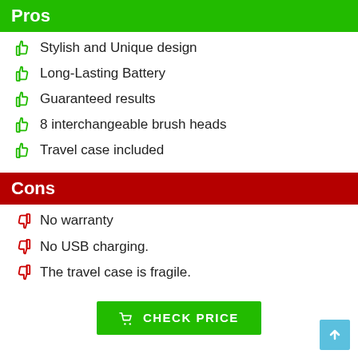Pros
Stylish and Unique design
Long-Lasting Battery
Guaranteed results
8 interchangeable brush heads
Travel case included
Cons
No warranty
No USB charging.
The travel case is fragile.
CHECK PRICE